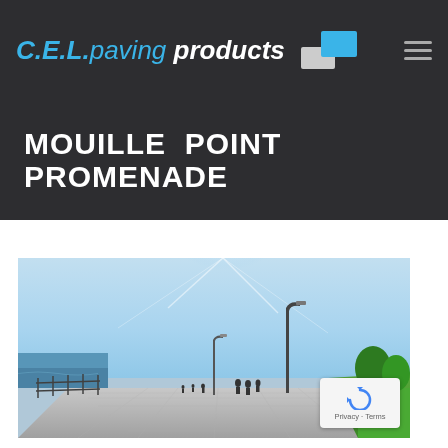C.E.L.paving products
MOUILLE POINT PROMENADE
[Figure (photo): Outdoor photo of Mouille Point Promenade showing a wide paved walkway along the ocean on a sunny day with a bright sun shining, street lights, people walking, green grass on the right, and the ocean on the left with a railing. Clear blue sky.]